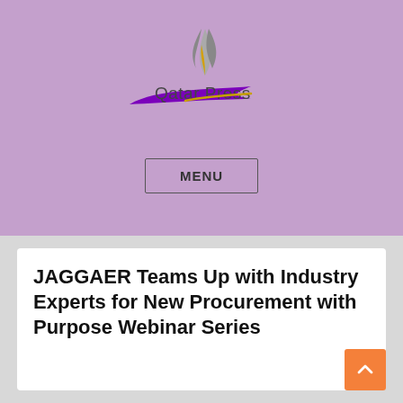[Figure (logo): Qatar Press logo with stylized flame/wave icon above the text 'Qatar Press' with a purple swoosh underneath]
MENU
JAGGAER Teams Up with Industry Experts for New Procurement with Purpose Webinar Series